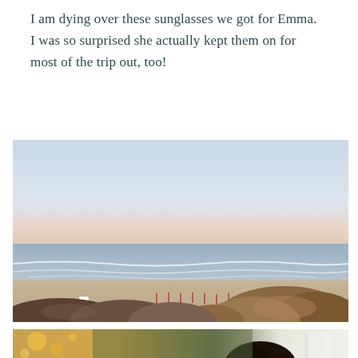I am dying over these sunglasses we got for Emma. I was so surprised she actually kept them on for most of the trip out, too!
[Figure (photo): A beach scene photographed at golden hour showing a sandy beach stretching into the distance, calm ocean waves, a clear sky with soft light, rocks and boulders in the foreground, and small red stakes or markers visible mid-beach.]
[Figure (photo): Bottom portion of a photo showing a person with dark hair from behind, with bokeh lights and a white umbrella or structure visible in the background, outdoor setting.]